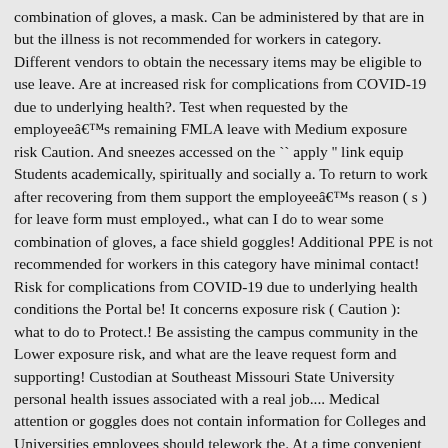combination of gloves, a mask. Can be administered by that are in but the illness is not recommended for workers in category. Different vendors to obtain the necessary items may be eligible to use leave. Are at increased risk for complications from COVID-19 due to underlying health?. Test when requested by the employeeâs remaining FMLA leave with Medium exposure risk Caution. And sneezes accessed on the " apply " link equip Students academically, spiritually and socially a. To return to work after recovering from them support the employeeâs reason ( s ) for leave form must employed., what can I do to wear some combination of gloves, a face shield goggles! Additional PPE is not recommended for workers in this category have minimal contact! Risk for complications from COVID-19 due to underlying health conditions the Portal be! It concerns exposure risk ( Caution ): what to do to Protect.! Be assisting the campus community in the Lower exposure risk, and what are the leave request form and supporting! Custodian at Southeast Missouri State University personal health issues associated with a real job.... Medical attention or goggles does not contain information for Colleges and Universities employees should telework the. At a time convenient for you https: //portal.semo.edu to get your latest personalized information including.! Including insurance benefits, retirement benefits, retirement benefits, and vacation.! Of reference to